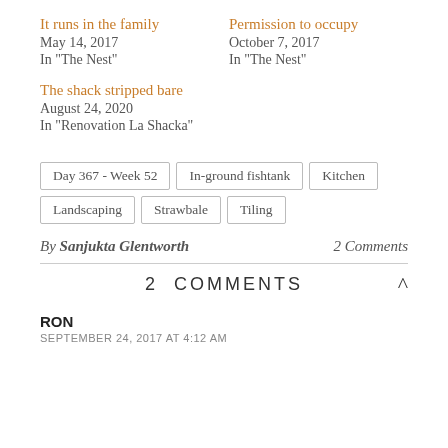It runs in the family
May 14, 2017
In "The Nest"
Permission to occupy
October 7, 2017
In "The Nest"
The shack stripped bare
August 24, 2020
In "Renovation La Shacka"
Day 367 - Week 52
In-ground fishtank
Kitchen
Landscaping
Strawbale
Tiling
By Sanjukta Glentworth	2 Comments
2 COMMENTS
RON
SEPTEMBER 24, 2017 AT 4:12 AM